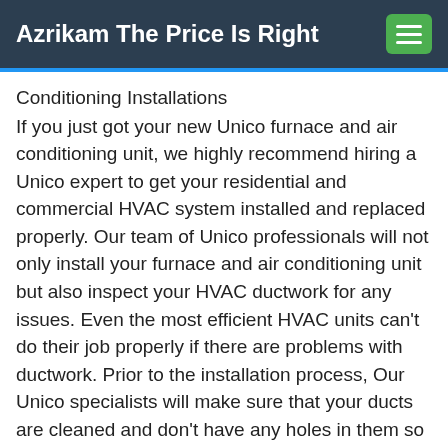Azrikam The Price Is Right
Conditioning Installations
If you just got your new Unico furnace and air conditioning unit, we highly recommend hiring a Unico expert to get your residential and commercial HVAC system installed and replaced properly. Our team of Unico professionals will not only install your furnace and air conditioning unit but also inspect your HVAC ductwork for any issues. Even the most efficient HVAC units can't do their job properly if there are problems with ductwork. Prior to the installation process, Our Unico specialists will make sure that your ducts are cleaned and don't have any holes in them so that the air can flow properly without any leakage. If you had your previous Unico HVAC unit installed by